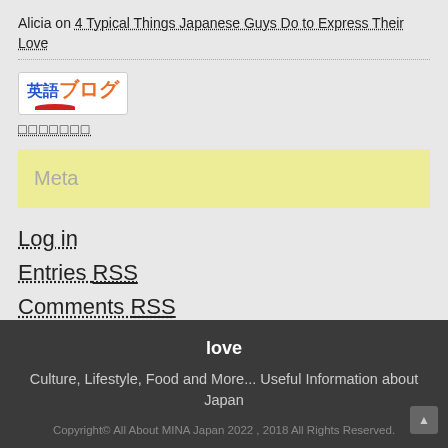Alicia on 4 Typical Things Japanese Guys Do to Express Their Love
[Figure (logo): 英語ブログ badge/button with blue and orange Japanese text and red accent element]
□□□□□□□
Meta
Log in
Entries RSS
Comments RSS
WordPress.org
love
Culture, Lifestyle, Food and More... Useful Information about Japan
Copyright© All About MINA Japan 2022 , 2018 All Rights Reserved.